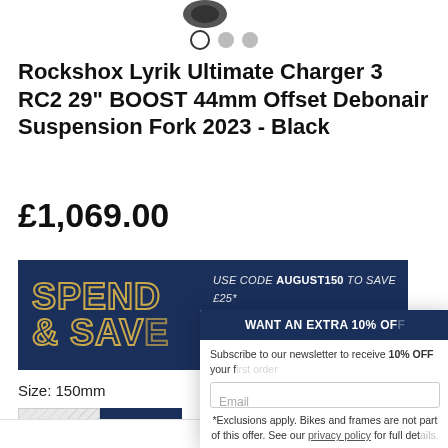[Figure (other): Partial product image thumbnail at top center]
[Figure (other): Carousel navigation dots: one open circle, two filled gray circles]
Rockshox Lyrik Ultimate Charger 3 RC2 29" BOOST 44mm Offset Debonair Suspension Fork 2023 - Black
£1,069.00
[Figure (infographic): Spend & Save promotional banner with dark navy background. Left side shows 'SPEND & SAVE' in outlined gold/yellow text. Right side shows promotional codes: USE CODE AUGUST150 TO SAVE £25*, USE CODE AUGUST100 TO SAVE £15*]
Size: 150mm
[Figure (other): Size selector buttons: 140mm (grayed out/diagonal strikethrough) and 150mm (selected, dark blue)]
[Figure (other): Newsletter popup overlay: WANT AN EXTRA 10% OFF - Subscribe to our newsletter to receive 10% OFF your first order. Email input field. Footnote: *Exclusions apply. Bikes and frames are not part of this offer. See our privacy policy for full details.]